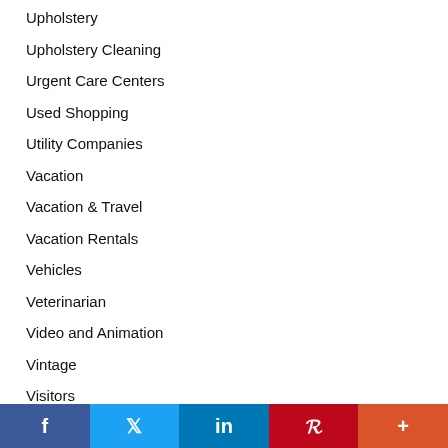Upholstery
Upholstery Cleaning
Urgent Care Centers
Used Shopping
Utility Companies
Vacation
Vacation & Travel
Vacation Rentals
Vehicles
Veterinarian
Video and Animation
Vintage
Visitors
Volunteer
Facebook | Twitter | LinkedIn | Pinterest | More